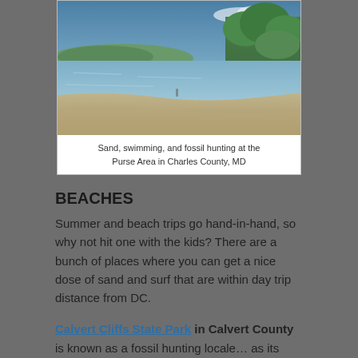[Figure (photo): Shoreline scene with calm water, sandy beach, and green trees in the background under a blue sky. Located at the Purse Area in Charles County, MD.]
Sand, swimming, and fossil hunting at the Purse Area in Charles County, MD
BEACHES
Summer and beach trips go hand-in-hand, so why not hit one with the kids? There are a bunch of places where you can get a nice dose of sand and surf that are within day trip distance from DC.
Calvert Cliffs State Park in Calvert County is known as a fossil hunting locale... as its cliffs erode